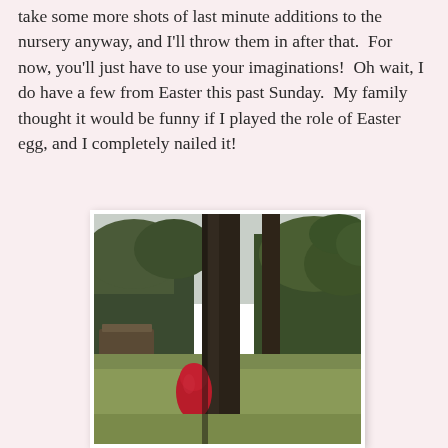take some more shots of last minute additions to the nursery anyway, and I'll throw them in after that.  For now, you'll just have to use your imaginations!  Oh wait, I do have a few from Easter this past Sunday.  My family thought it would be funny if I played the role of Easter egg, and I completely nailed it!
[Figure (photo): Outdoor photo of a wooded backyard with trees. A person wearing a red outfit is partially hidden behind a large tree trunk, appearing to 'play the role of Easter egg' by peeking out. The background shows grass, more trees, and overcast sky.]